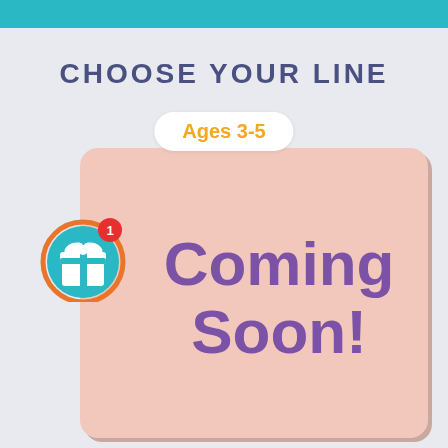CHOOSE YOUR LINE
Ages 3-5
[Figure (illustration): Gift box icon with notification badge showing number 1, inside a teal circle with orange ring border]
Coming Soon!